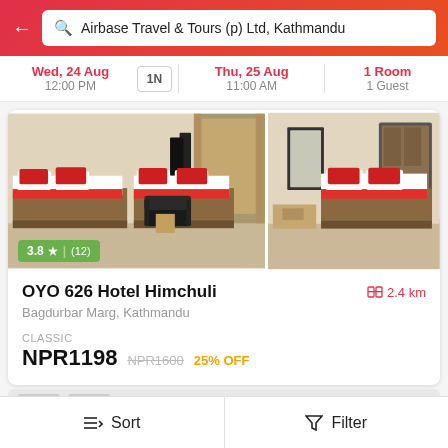Airbase Travel & Tours (p) Ltd, Kathmandu
Wed, 24 Aug 12:00 PM | 1N | Thu, 25 Aug 11:00 AM | 1 Room 1 Guest
[Figure (photo): Hotel room photos showing two hotel rooms with beds with red and white linens, dark headboards, red accent pillows, a black armchair, and a wall-mounted TV. Left photo shows wider angle with two beds; right photo shows room with mirror and single bed.]
3.8 ★ | (12)
OYO 626 Hotel Himchuli
2.4 km
Bagdurbar Marg, Kathmandu
CLASSIC
NPR1198 NPR1600 25% OFF